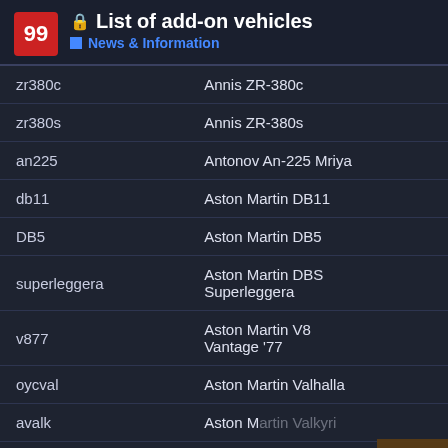🔒 List of add-on vehicles
■ News & Information
| code | name |
| --- | --- |
| zr380c | Annis ZR-380c |
| zr380s | Annis ZR-380s |
| an225 | Antonov An-225 Mriya |
| db11 | Aston Martin DB11 |
| DB5 | Aston Martin DB5 |
| superleggera | Aston Martin DBS Superleggera |
| v877 | Aston Martin V8 Vantage '77 |
| oycval | Aston Martin Valhalla |
| avalk | Aston Martin Valkyrie |
|  | Aston |
1 / 1